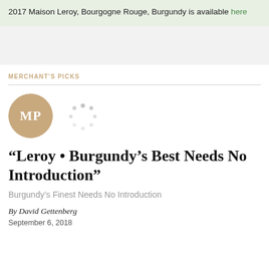2017 Maison Leroy, Bourgogne Rouge, Burgundy is available here
MERCHANT'S PICKS
[Figure (logo): Circular logo with golden border and tan fill, showing initials 'MP' in white serif text]
[Figure (other): Loading spinner icon made of small grey dots arranged in a circle]
“Leroy • Burgundy’s Best Needs No Introduction”
Burgundy's Finest Needs No Introduction
By David Gettenberg
September 6, 2018